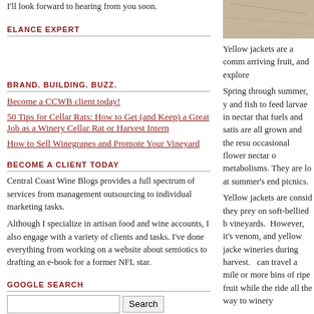I'll look forward to hearing from you soon.
ELANCE EXPERT
BRAND. BUILDING. BUZZ.
Become a CCWB client today!
50 Tips for Cellar Rats: How to Get (and Keep) a Great Job as a Winery Cellar Rat or Harvest Intern
How to Sell Winegrapes and Promote Your Vineyard
BECOME A CLIENT TODAY
Central Coast Wine Blogs provides a full spectrum of services from management outsourcing to individual marketing tasks.
Although I specialize in artisan food and wine accounts, I also engage with a variety of clients and tasks. I've done everything from working on a website about semiotics to drafting an e-book for a former NFL star.
GOOGLE SEARCH
[Figure (other): Google search bar with text input and Search button, followed by Google logo]
[Figure (photo): Image of textured surface, possibly tree bark or natural material]
Yellow jackets are a comm arriving fruit, and explore
Spring through summer, y and fish to feed larvae in nectar that fuels and satis are all grown and the resu occasional flower nectar o metabolisms. They are lo at summer's end picnics.
Yellow jackets are consid they prey on soft-bellied b vineyards. However, it's venom, and yellow jacke wineries during harvest. can travel a mile or more bins of ripe fruit while the ride all the way to winery
Slow movements prevent occasional well-aimed fli